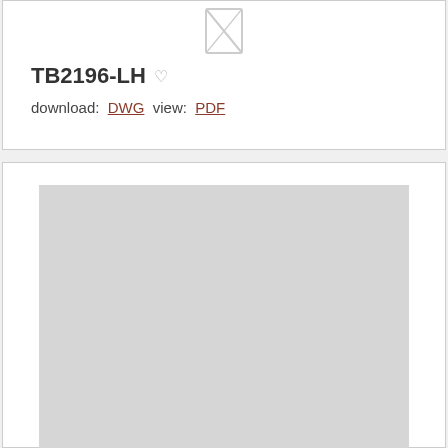[Figure (other): Broken/missing image placeholder icon (thumbnail not loaded) for product TB2196-LH]
TB2196-LH ♡
download: DWG  view: PDF
[Figure (other): Large grey placeholder rectangle representing a product drawing/diagram image that has not loaded for the second product card]